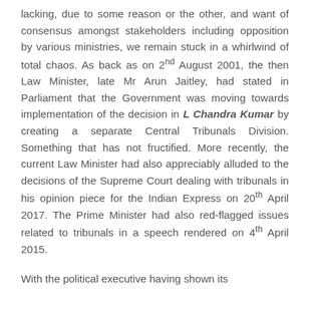lacking, due to some reason or the other, and want of consensus amongst stakeholders including opposition by various ministries, we remain stuck in a whirlwind of total chaos. As back as on 2nd August 2001, the then Law Minister, late Mr Arun Jaitley, had stated in Parliament that the Government was moving towards implementation of the decision in L Chandra Kumar by creating a separate Central Tribunals Division. Something that has not fructified. More recently, the current Law Minister had also appreciably alluded to the decisions of the Supreme Court dealing with tribunals in his opinion piece for the Indian Express on 20th April 2017. The Prime Minister had also red-flagged issues related to tribunals in a speech rendered on 4th April 2015.
With the political executive having shown its